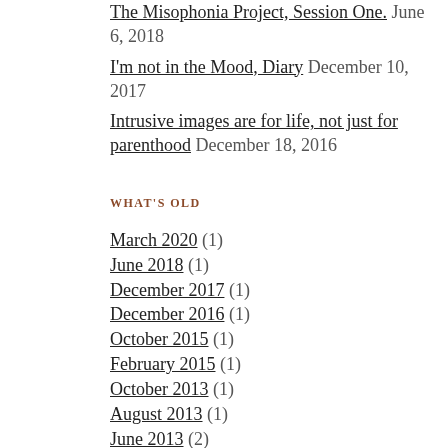The Misophonia Project, Session One. June 6, 2018
I'm not in the Mood, Diary December 10, 2017
Intrusive images are for life, not just for parenthood December 18, 2016
WHAT'S OLD
March 2020 (1)
June 2018 (1)
December 2017 (1)
December 2016 (1)
October 2015 (1)
February 2015 (1)
October 2013 (1)
August 2013 (1)
June 2013 (2)